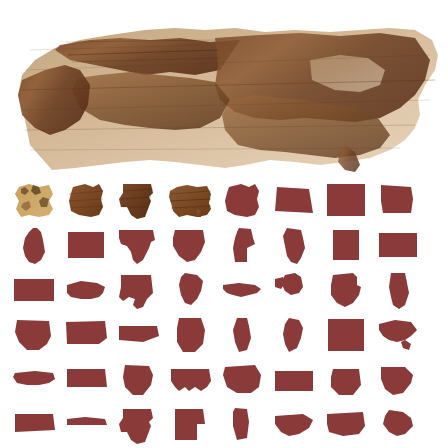[Figure (map): Wooden layered map of the United States at top, with walnut and lighter wood tones showing state boundaries. Below are rows of individual US state silhouettes in dark reddish-brown color, arranged in a grid pattern.]